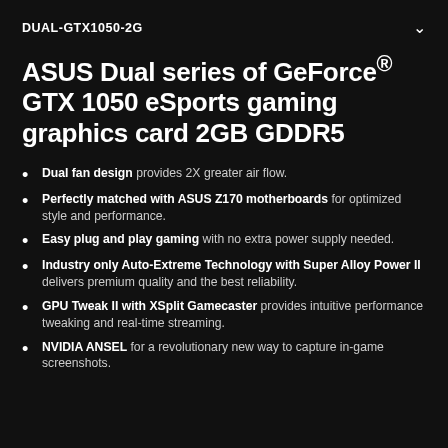DUAL-GTX1050-2G
ASUS Dual series of GeForce® GTX 1050 eSports gaming graphics card 2GB GDDR5
Dual fan design provides 2X greater air flow.
Perfectly matched with ASUS Z170 motherboards for optimized style and performance.
Easy plug and play gaming with no extra power supply needed.
Industry only Auto-Extreme Technology with Super Alloy Power II delivers premium quality and the best reliability.
GPU Tweak II with XSplit Gamecaster provides intuitive performance tweaking and real-time streaming.
NVIDIA ANSEL for a revolutionary new way to capture in-game screenshots.